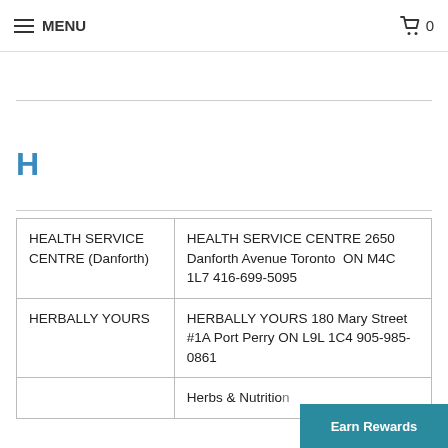MENU  0
H
| HEALTH SERVICE CENTRE (Danforth) | HEALTH SERVICE CENTRE 2650 Danforth Avenue Toronto  ON M4C 1L7 416-699-5095 |
| HERBALLY YOURS | HERBALLY YOURS 180 Mary Street #1A Port Perry ON L9L 1C4 905-985-0861 |
|  | Herbs & Nutrition |